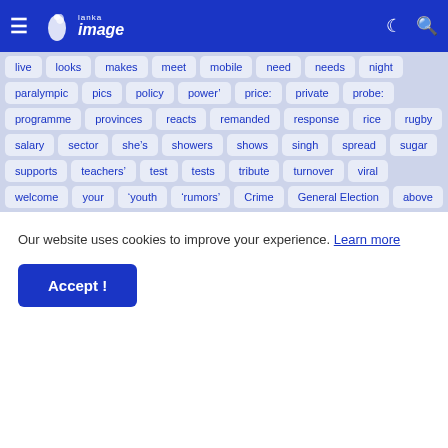Lanka Image
live looks makes meet mobile need needs night paralympic pics policy power' price: private probe: programme provinces reacts remanded response rice rugby salary sector she&#8217;s showers shows singh spread sugar supports teachers' test tests tribute turnover viral welcome your 'youth &#8216;rumors&#8217; Crime General Election above
Our website uses cookies to improve your experience. Learn more
Accept !